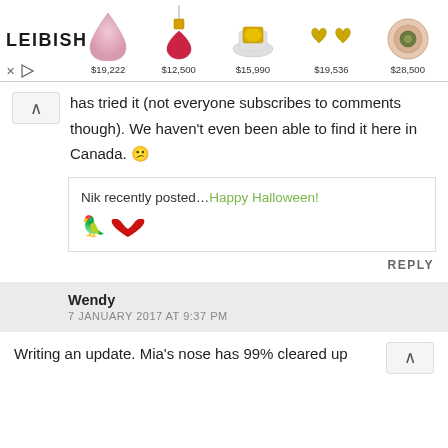[Figure (screenshot): Leibish jewelry advertisement banner showing 5 jewelry items with prices: $19,222, $12,500, $15,990, $19,536, $28,500]
has tried it (not everyone subscribes to comments though). We haven't even been able to find it here in Canada. 😕
Nik recently posted…Happy Halloween!
REPLY
Wendy
7 JANUARY 2017 AT 9:37 PM
Writing an update. Mia's nose has 99% cleared up